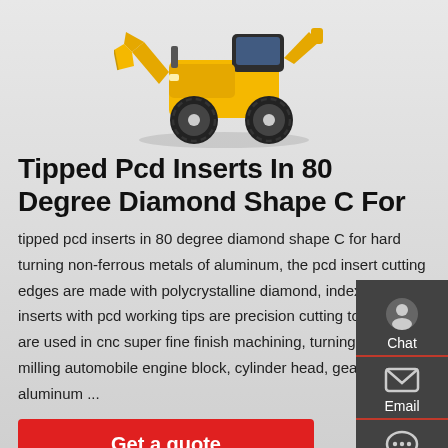[Figure (photo): Yellow front loader / wheel loader construction vehicle on white background]
Tipped Pcd Inserts In 80 Degree Diamond Shape C For
tipped pcd inserts in 80 degree diamond shape C for hard turning non-ferrous metals of aluminum, the pcd insert cutting edges are made with polycrystalline diamond, indexable inserts with pcd working tips are precision cutting tools, which are used in cnc super fine finish machining, turning and milling automobile engine block, cylinder head, gearbox, cast aluminum ...
Get a quote